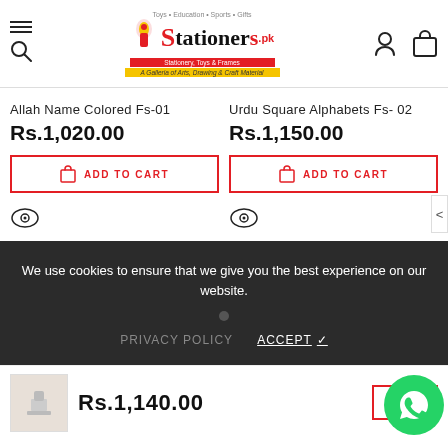[Figure (screenshot): Stationers.pk e-commerce website header with logo, menu icon, search icon, user icon, and cart icon]
Allah Name Colored Fs-01
Rs.1,020.00
ADD TO CART
Urdu Square Alphabets Fs- 02
Rs.1,150.00
ADD TO CART
We use cookies to ensure that we give you the best experience on our website.
PRIVACY POLICY
ACCEPT ✓
Rs.1,140.00
ADD T